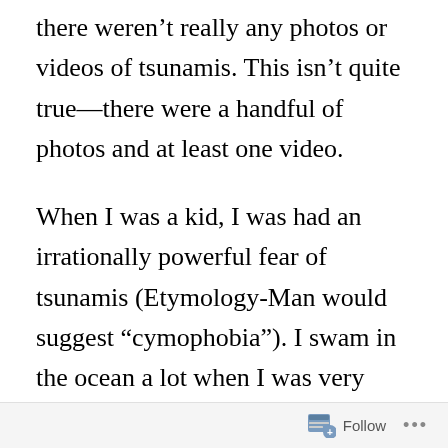there weren't really any photos or videos of tsunamis. This isn't quite true—there were a handful of photos and at least one video.
When I was a kid, I was had an irrationally powerful fear of tsunamis (Etymology-Man would suggest "cymophobia"). I swam in the ocean a lot when I was very young, so waves were a big part of my world.  I would fret about tsunamis whenever I was near the coast, and to this day I have occasional
Follow